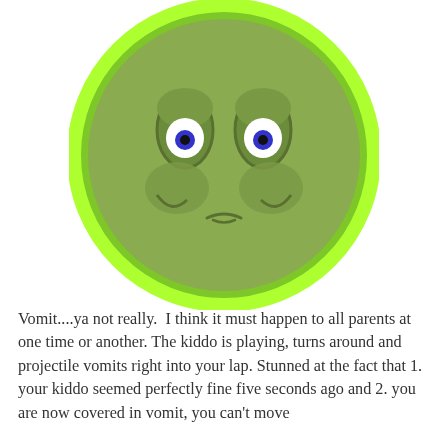[Figure (illustration): A cartoon green nauseated face emoji — a large lime-green circle with a medium green face inside. The face has two heavy-lidded eyes with blue irises and black pupils, puffy cheeks below the eyes, and a small frowning mouth, conveying a sick/queasy expression.]
Vomit....ya not really.  I think it must happen to all parents at one time or another. The kiddo is playing, turns around and projectile vomits right into your lap. Stunned at the fact that 1. your kiddo seemed perfectly fine five seconds ago and 2. you are now covered in vomit, you can't move